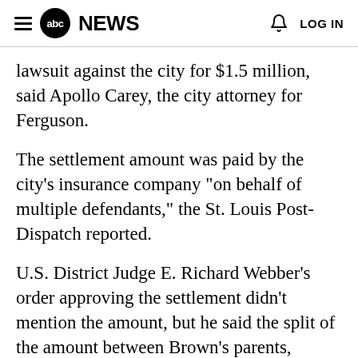abc NEWS  LOG IN
lawsuit against the city for $1.5 million, said Apollo Carey, the city attorney for Ferguson.
The settlement amount was paid by the city's insurance company "on behalf of multiple defendants," the St. Louis Post-Dispatch reported.
U.S. District Judge E. Richard Webber's order approving the settlement didn't mention the amount, but he said the split of the amount between Brown's parents, Michael Brown Sr. and Lesley McSpadden, is "fair and reasonable" and "provides for a reasonable